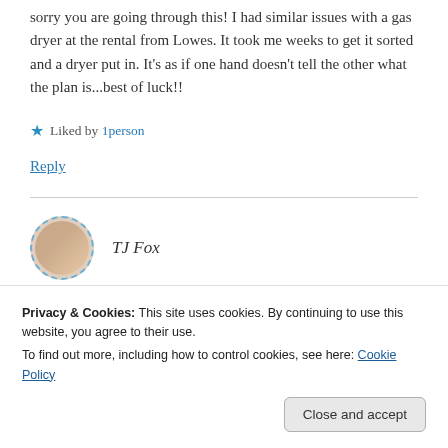Oh my gosh, what a nightmare to deal. I am so sorry you are going through this! I had similar issues with a gas dryer at the rental from Lowes. It took me weeks to get it sorted and a dryer put in. It's as if one hand doesn't tell the other what the plan is...best of luck!!
Liked by 1person
Reply
TJ Fox
from here.
Privacy & Cookies: This site uses cookies. By continuing to use this website, you agree to their use.
To find out more, including how to control cookies, see here: Cookie Policy
Close and accept